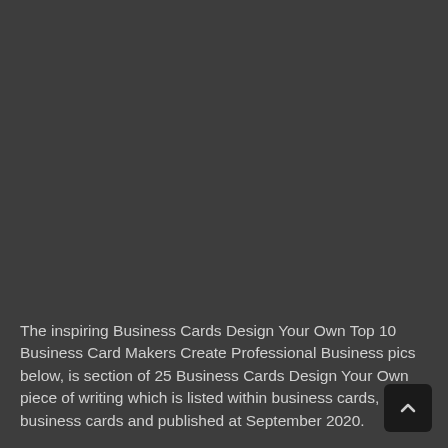[Figure (photo): Large dark grey/charcoal background area filling most of the page, representing a partially visible image or content area with very low visibility due to dark overlay.]
The inspiring Business Cards Design Your Own Top 10 Business Card Makers Create Professional Business pics below, is section of 25 Business Cards Design Your Own piece of writing which is listed within business cards, business cards and published at September 2020.